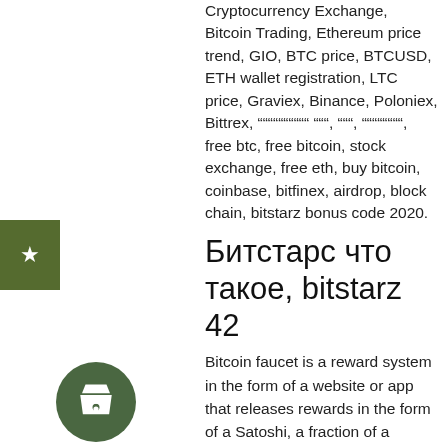Cryptocurrency Exchange, Bitcoin Trading, Ethereum price trend, GIO, BTC price, BTCUSD, ETH wallet registration, LTC price, Graviex, Binance, Poloniex, Bittrex, """""""""""""""""""""""""""""""""""""""""""""""""""""""""", """"""""""""""""", free btc, free bitcoin, stock exchange, free eth, buy bitcoin, coinbase, bitfinex, airdrop, block chain, bitstarz bonus code 2020.
Битстарс что такое, bitstarz 42
Bitcoin faucet is a reward system in the form of a website or app that releases rewards in the form of a Satoshi, a fraction of a bitcoin after completing a survey, watching an ad or doing a captcha. The amount will typically fluctuate according to the value of bitcoin. Some faucets have random large rewards, bitstarz bonus 2021. This user has upvoted this faucet, bitstarz bonus 2021. How To Get FREE Cryptocoins...